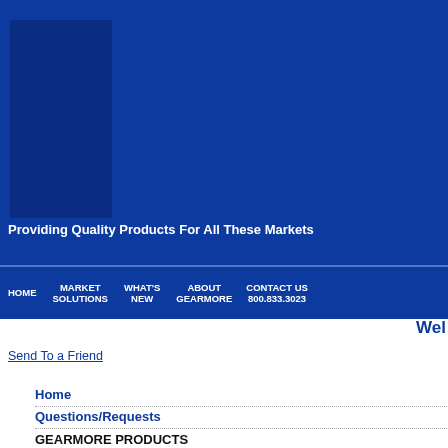[Figure (screenshot): Blue header banner with darker blue square logo area on left and company tagline text]
Providing Quality Products For All These Markets
HOME   MARKET SOLUTIONS   WHAT'S NEW   ABOUT GEARMORE   CONTACT US 800.833.3023
Wel
Send To a Friend
Home
Questions/Requests
GEARMORE PRODUCTS
These rollers are available in 3-poi...